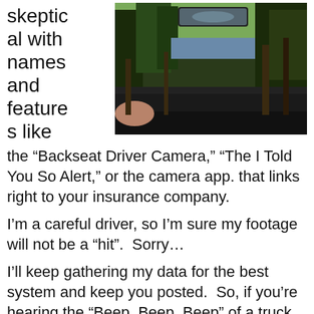skeptical with names and features like
[Figure (photo): View from inside a car through the windshield showing trees, a lake in the background, and a rearview mirror at the top. A hand is visible on the left side of the frame.]
the “Backseat Driver Camera,” “The I Told You So Alert,” or the camera app. that links right to your insurance company.
I’m a careful driver, so I’m sure my footage will not be a “hit”.  Sorry…
I’ll keep gathering my data for the best system and keep you posted.  So, if you’re hearing the “Beep, Beep, Beep” of a truck backing up be cautious, as that truck may be doing research